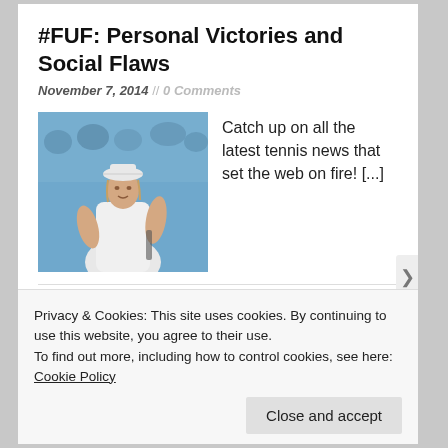#FUF: Personal Victories and Social Flaws
November 7, 2014 // 0 Comments
[Figure (photo): Tennis player in white outfit holding racket, with crowd in background]
Catch up on all the latest tennis news that set the web on fire! [...]
Seven Thoughts From Behind the
Privacy & Cookies: This site uses cookies. By continuing to use this website, you agree to their use.
To find out more, including how to control cookies, see here: Cookie Policy
Close and accept